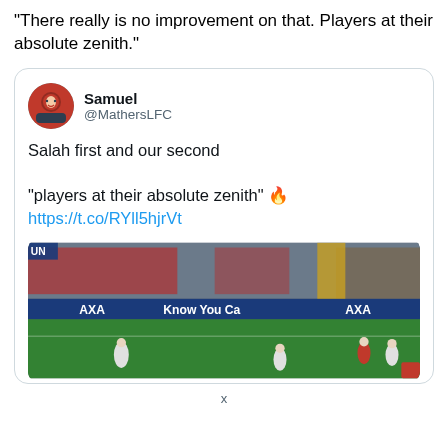“There really is no improvement on that. Players at their absolute zenith.”
[Figure (screenshot): Tweet card from @MathersLFC (Samuel) with text 'Salah first and our second' and '"players at their absolute zenith" 🔥 https://t.co/RYll5hjrVt', with an embedded image of a football/soccer match in a stadium]
x